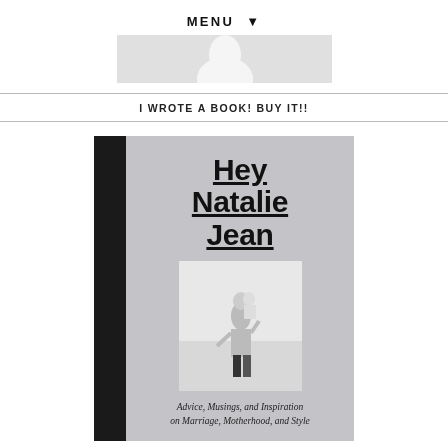MENU ▼
[Figure (photo): Partial top photo showing a white figure/person against a light background, cropped at bottom]
I WROTE A BOOK! BUY IT!!
[Figure (photo): Book cover of 'Hey Natalie Jean' with grey cover, black spine, bold title text underlined, a black and white photo of a person carrying a child, and italic subtitle 'Advice, Musings, and Inspiration on Marriage, Motherhood, and Style']